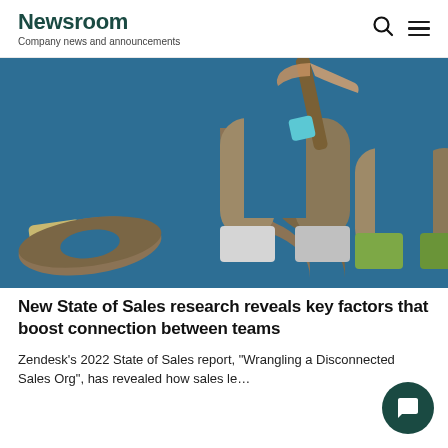Newsroom
Company news and announcements
[Figure (photo): Wooden horseshoe magnet shapes on a blue background, with colorful accents (cyan, yellow-green, gray), and a hand holding a wooden stick piece from above.]
New State of Sales research reveals key factors that boost connection between teams
Zendesk’s 2022 State of Sales report, “Wrangling a Disconnected Sales Org”, has revealed how sales le…